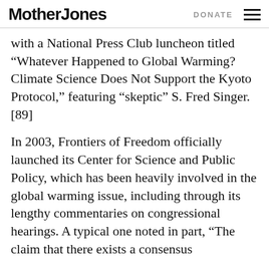Mother Jones | DONATE
with a National Press Club luncheon titled “Whatever Happened to Global Warming? Climate Science Does Not Support the Kyoto Protocol,” featuring “skeptic” S. Fred Singer.[89]
In 2003, Frontiers of Freedom officially launched its Center for Science and Public Policy, which has been heavily involved in the global warming issue, including through its lengthy commentaries on congressional hearings. A typical one noted in part, “The claim that there exists a consensus